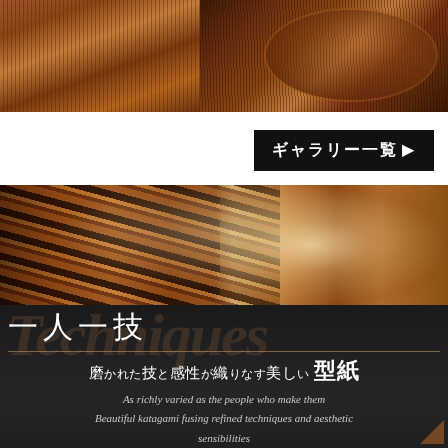[Figure (photo): Two close-up photos of katagami (Japanese stencil) patterns with brown/copper textile-like fine line textures. Left image shows vertical lines pattern, right shows circular/floral motif.]
ギャラリー一覧▶
[Figure (photo): Close-up photo of hands working on katagami craft with dramatic zebra-stripe brown, black, and gold patterns, showing refined artisanal technique.]
一人一技
磨かれた技と感性が織りなす美しい　型紙
As richly varied as the people who make them
Beautiful katagami fusing refined techniques and aesthetic sensibilities